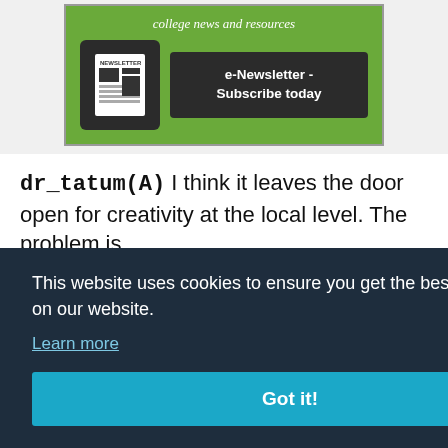[Figure (illustration): Green newsletter subscription banner with newsletter icon and 'e-Newsletter - Subscribe today' button. Text reads 'college news and resources' in italic white.]
dr_tatum(A)  I think it leaves the door open for creativity at the local level. The problem is ... ther
This website uses cookies to ensure you get the best experience on our website.
Learn more
Got it!
...al segregation was struck down many years ago